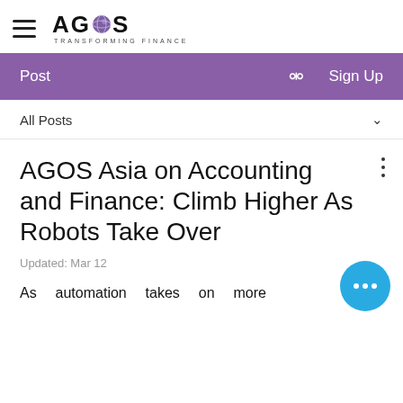AGOS — TRANSFORMING FINANCE
AGOS Asia on Accounting and Finance: Climb Higher As Robots Take Over
Updated: Mar 12
As automation takes on more